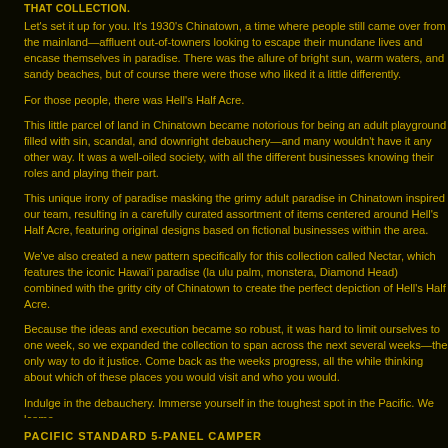THAT COLLECTION.
Let's set it up for you. It's 1930's Chinatown, a time where people still came over from the mainland—affluent out-of-towners looking to escape their mundane lives and encase themselves in paradise. There was the allure of bright sun, warm waters, and sandy beaches, but of course there were those who liked it a little differently.
For those people, there was Hell's Half Acre.
This little parcel of land in Chinatown became notorious for being an adult playground filled with sin, scandal, and downright debauchery—and many wouldn't have it any other way. It was a well-oiled machine of society, with all the different businesses knowing their roles and playing their part.
This unique irony of paradise masking the grimy adult paradise in Chinatown inspired our team, resulting in a carefully curated assortment of items centered around Hell's Half Acre, featuring original designs based on fictional businesses within the area.
We've also created a new pattern specifically for this collection called Nectar, which features the iconic Hawai'i paradise (la ulu palm, monstera, Diamond Head) combined with the gritty city of Chinatown to create the perfect depiction of Hell's Half Acre.
Because the ideas and execution became so robust, it was hard to limit ourselves to one week, so we expanded the collection to span across the next several weeks—the only way to do it justice. Come back as the weeks progress, all the while thinking about which of these places you would visit and who you would.
Indulge in the debauchery. Immerse yourself in the toughest spot in the Pacific. We
PACIFIC STANDARD 5-PANEL CAMPER